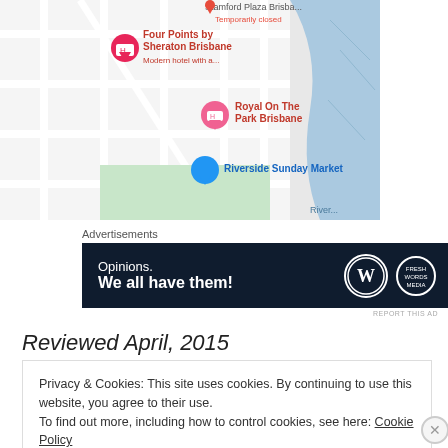[Figure (screenshot): Google Maps screenshot showing Brisbane area with pins for Four Points by Sheraton Brisbane, Royal On The Park Brisbane, and Riverside Sunday Market, with a river (blue) visible on the right]
Advertisements
[Figure (other): Dark navy advertisement banner: 'Opinions. We all have them!' with WordPress logo and another circular logo on the right]
REPORT THIS AD
Reviewed April, 2015
Privacy & Cookies: This site uses cookies. By continuing to use this website, you agree to their use.
To find out more, including how to control cookies, see here: Cookie Policy
Close and accept